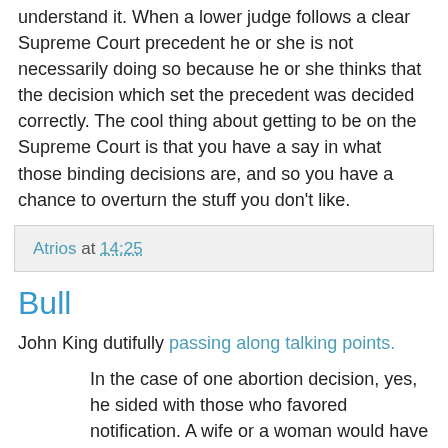understand it. When a lower judge follows a clear Supreme Court precedent he or she is not necessarily doing so because he or she thinks that the decision which set the precedent was decided correctly. The cool thing about getting to be on the Supreme Court is that you have a say in what those binding decisions are, and so you have a chance to overturn the stuff you don't like.
Atrios at 14:25
Bull
John King dutifully passing along talking points.
In the case of one abortion decision, yes, he sided with those who favored notification. A wife or a woman would have to notify her spouse before receiving an abortion. But he didn't say anything about abortion itself. He said the Pennsylvania legislature should have